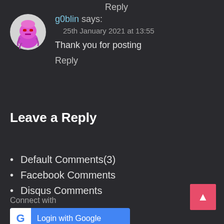Reply
[Figure (illustration): Circular avatar showing a pink/purple cartoon goblin character on a light gray background]
g0blin says:
25th January 2021 at 13:55
Thank you for posting
Reply
Leave a Reply
Default Comments(3)
Facebook Comments
Disqus Comments
Connect with
[Figure (other): Login with Google button with Google G logo icon on white background and blue button]